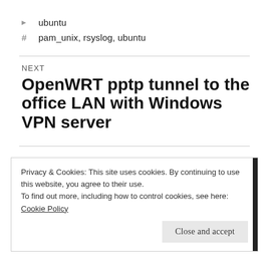ubuntu
pam_unix, rsyslog, ubuntu
NEXT
OpenWRT pptp tunnel to the office LAN with Windows VPN server
Privacy & Cookies: This site uses cookies. By continuing to use this website, you agree to their use.
To find out more, including how to control cookies, see here: Cookie Policy
Close and accept